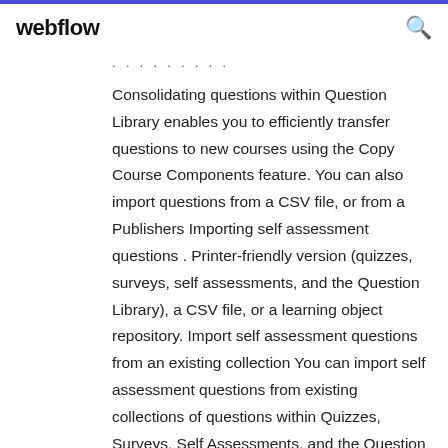webflow
Consolidating questions within Question Library enables you to efficiently transfer questions to new courses using the Copy Course Components feature. You can also import questions from a CSV file, or from a Publishers Importing self assessment questions . Printer-friendly version (quizzes, surveys, self assessments, and the Question Library), a CSV file, or a learning object repository. Import self assessment questions from an existing collection You can import self assessment questions from existing collections of questions within Quizzes, Surveys, Self Assessments, and the Question Library. D2L FAQ Feedback If you